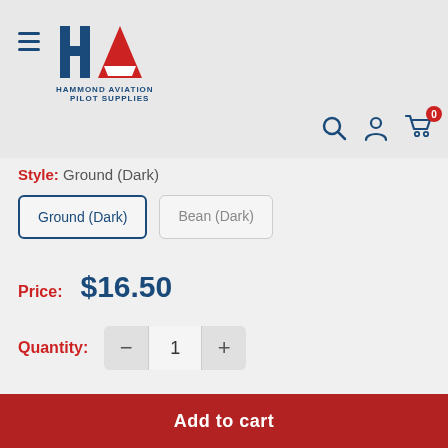[Figure (logo): Hammond Aviation Pilot Supplies logo with HA monogram in blue and red]
Style: Ground (Dark)
Ground (Dark)
Bean (Dark)
Price: $16.50
Quantity: 1
Add to cart